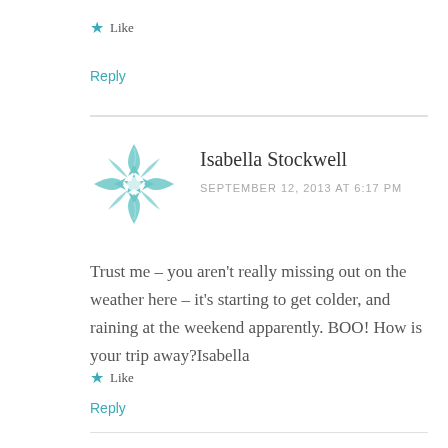★ Like
Reply
[Figure (illustration): Teal geometric mandala/snowflake avatar for Isabella Stockwell]
Isabella Stockwell
SEPTEMBER 12, 2013 AT 6:17 PM
Trust me – you aren't really missing out on the weather here – it's starting to get colder, and raining at the weekend apparently. BOO! How is your trip away?Isabella
★ Like
Reply